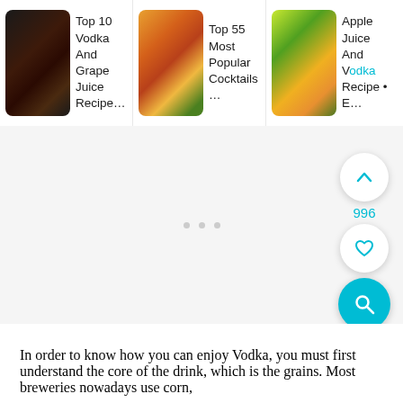[Figure (screenshot): Carousel of recipe cards: 'Top 10 Vodka And Grape Juice Recipe...', 'Top 55 Most Popular Cocktails...', 'Apple Juice And Vodka Recipe • E...' with thumbnail food/drink photos]
[Figure (screenshot): Advertisement placeholder area with three grey dots (carousel indicator) and floating UI buttons: up-chevron button, vote count 996, heart/like button, teal search button]
In order to know how you can enjoy Vodka, you must first understand the core of the drink, which is the grains. Most breweries nowadays use corn,